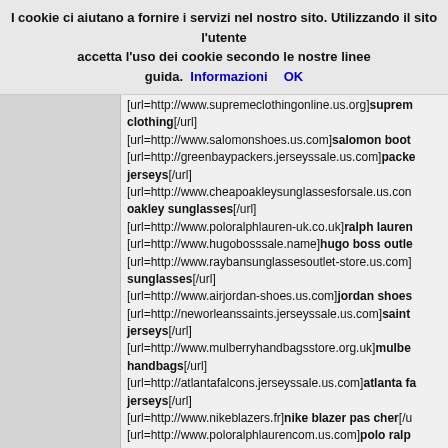I cookie ci aiutano a fornire i servizi nel nostro sito. Utilizzando il sito l'utente accetta l'uso dei cookie secondo le nostre linee guida. Informazioni OK
[url=http://www.supremeclothingonline.us.org]supreme clothing[/url]
[url=http://www.salomonshoes.us.com]salomon boot
[url=http://greenbaypackers.jerseyssale.us.com]packers jerseys[/url]
[url=http://www.cheapoakleysunglassesforsale.us.com]oakley sunglasses[/url]
[url=http://www.poloralphlauren-uk.co.uk]ralph lauren
[url=http://www.hugobosssale.name]hugo boss outlet
[url=http://www.raybansunglassesoutlet-store.us.com]sunglasses[/url]
[url=http://www.airjordan-shoes.us.com]jordan shoes
[url=http://neworleanssaints.jerseyssale.us.com]saints jerseys[/url]
[url=http://www.mulberryhandbagsstore.org.uk]mulberry handbags[/url]
[url=http://atlantafalcons.jerseyssale.us.com]atlanta falcons jerseys[/url]
[url=http://www.nikeblazers.fr]nike blazer pas cher[/url]
[url=http://www.poloralphlaurencom.us.com]polo ralph
[url=http://chargers.jerseyssale.us.com]san diego chargers jerseys[/url]
[url=http://www.cheapraybansunglassesrb.us.com]cheap ray ban sunglasses[/url]
[url=http://www.ferragamoshoes.us.com]ferragamo shoes
[url=http://www.coach-outletstoreonline.eu.com]coach
[url=http://chicagobears.jerseyssale.us.com]chicago bears jerseys[/url]